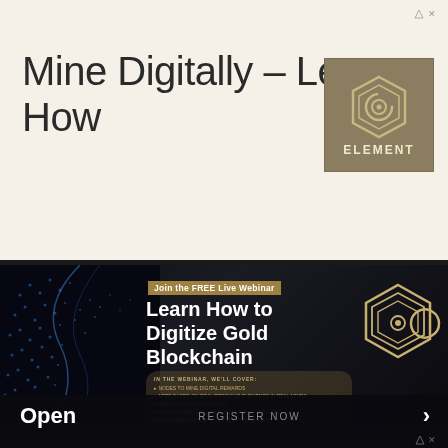Mine Digitally - Learn How
[Figure (logo): Element brand logo - hexagonal E symbol with ELEMENT text below, on gold/tan background]
[Figure (infographic): Dark ad banner: Join the FREE Live Webinar - Learn How to Digitize Gold Blockchain. In the webinar we'll cover: Nodes to mine digital rewards, NFTs based on real precious elements in real mines, Industry access for all, Collectible scalable Web3 web app gaming, Exclusive benefits for early adopters. REGISTER NOW button. Element hexagon logo on right.]
Open
REGISTER NOW